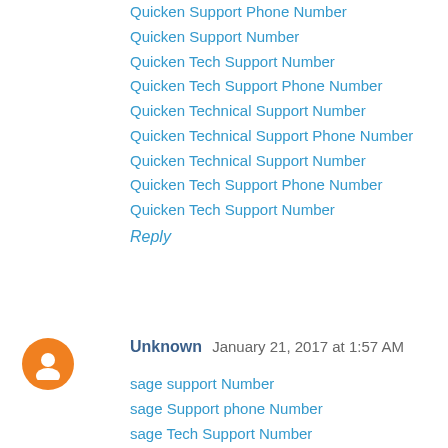Quicken Support Phone Number
Quicken Support Number
Quicken Tech Support Number
Quicken Tech Support Phone Number
Quicken Technical Support Number
Quicken Technical Support Phone Number
Quicken Technical Support Number
Quicken Tech Support Phone Number
Quicken Tech Support Number
Reply
Unknown  January 21, 2017 at 1:57 AM
sage support Number
sage Support phone Number
sage Tech Support Number
sage Tech Support phone Number
sage customer service Number
sage customer service phone Number
sage Technical Support phone Number
sage Technical Support Number
sage Customer Support Number